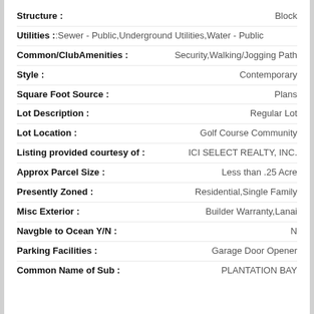Structure : Block
Utilities : Sewer - Public,Underground Utilities,Water - Public
Common/ClubAmenities : Security,Walking/Jogging Path
Style : Contemporary
Square Foot Source : Plans
Lot Description : Regular Lot
Lot Location : Golf Course Community
Listing provided courtesy of : ICI SELECT REALTY, INC.
Approx Parcel Size : Less than .25 Acre
Presently Zoned : Residential,Single Family
Misc Exterior : Builder Warranty,Lanai
Navgble to Ocean Y/N : N
Parking Facilities : Garage Door Opener
Common Name of Sub : PLANTATION BAY